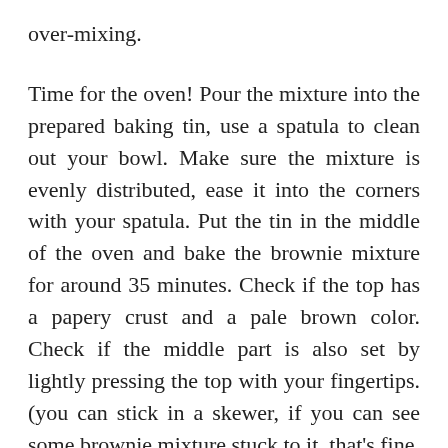over-mixing.
Time for the oven! Pour the mixture into the prepared baking tin, use a spatula to clean out your bowl. Make sure the mixture is evenly distributed, ease it into the corners with your spatula. Put the tin in the middle of the oven and bake the brownie mixture for around 35 minutes. Check if the top has a papery crust and a pale brown color. Check if the middle part is also set by lightly pressing the top with your fingertips. (you can stick in a skewer, if you can see some brownie mixture stuck to it, that's fine, as long as it doesn't have a liquid consistency. Give it a few more minutes in the oven if it's not set in the middle and check again. Take the tin out of the oven and leave the brownies in the tin to cool completely. If you cut them while they are still warm, the consistency will be a bit like hot